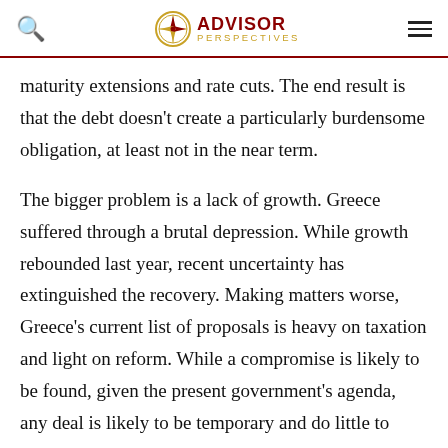Advisor Perspectives
maturity extensions and rate cuts. The end result is that the debt doesn't create a particularly burdensome obligation, at least not in the near term.
The bigger problem is a lack of growth. Greece suffered through a brutal depression. While growth rebounded last year, recent uncertainty has extinguished the recovery. Making matters worse, Greece's current list of proposals is heavy on taxation and light on reform. While a compromise is likely to be found, given the present government's agenda, any deal is likely to be temporary and do little to address the country's long-term structural